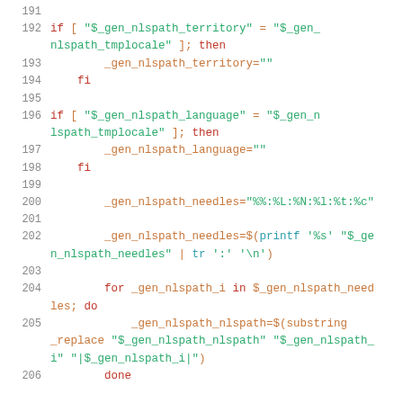191 (blank)
192     if [ "$_gen_nlspath_territory" = "$_gen_nlspath_tmplocale" ]; then
193             _gen_nlspath_territory=""
194     fi
195 (blank)
196     if [ "$_gen_nlspath_language" = "$_gen_nlspath_tmplocale" ]; then
197             _gen_nlspath_language=""
198     fi
199 (blank)
200         _gen_nlspath_needles="%%:%L:%N:%l:%t:%c"
201 (blank)
202         _gen_nlspath_needles=$(printf '%s' "$_gen_nlspath_needles" | tr ':' '\n')
203 (blank)
204     for _gen_nlspath_i in $_gen_nlspath_needles; do
205             _gen_nlspath_nlspath=$(substring_replace "$_gen_nlspath_nlspath" "$_gen_nlspath_i" "|$_gen_nlspath_i|")
206     done
207 (blank)